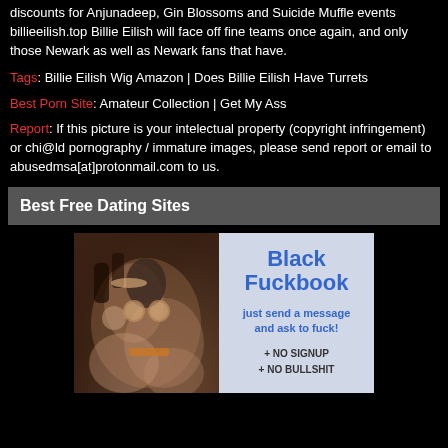discounts for Anjunadeep, Gin Blossoms and Suicide Muffle events billieeilish.top Billie Eilish will face off fine teams once again, and only those Newark as well as Newark fans that have.
Tags: Billie Eilish Wig Amazon | Does Billie Eilish Have Turrets
Best Porn Site: Amateur Collection | Get My Ass
Report: If this picture is your intelectual property (copyright infringement) or chi@ld pornography / immature images, please send report or email to abusedmsa[at]protonmail.com to us.
Best Free Dating Sites
[Figure (photo): Advertisement banner for adult dating site showing explicit photo on left side and text 'Black Fuckbook just send a message and ask to fuck! + NO SIGNUP + NO BULLSHIT' on right side]